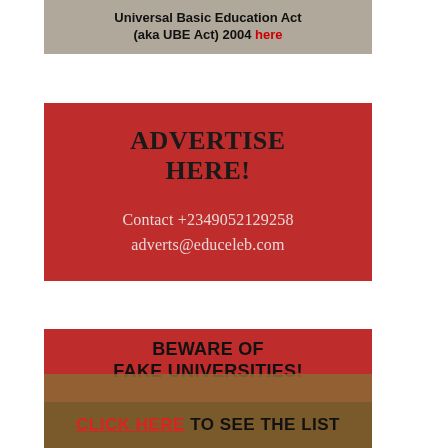[Figure (screenshot): Banner image showing text about Universal Basic Education Act (aka UBE Act) 2004 with a red hyperlink 'here', overlaid on a background photo of students/classroom.]
[Figure (infographic): Red advertisement banner reading 'ADVERTISE HERE!' with contact details: +2349052129258 and adverts@educeleb.com]
[Figure (infographic): Red banner warning 'BEWARE OF FAKE UNIVERSITIES!' with a 'CLICK HERE TO SEE THE LIST' call-to-action over a photo of graduating students.]